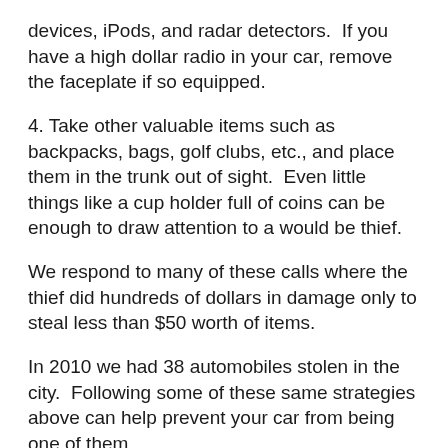devices, iPods, and radar detectors.  If you have a high dollar radio in your car, remove the faceplate if so equipped.
4. Take other valuable items such as backpacks, bags, golf clubs, etc., and place them in the trunk out of sight.  Even little things like a cup holder full of coins can be enough to draw attention to a would be thief.
We respond to many of these calls where the thief did hundreds of dollars in damage only to steal less than $50 worth of items.
In 2010 we had 38 automobiles stolen in the city.  Following some of these same strategies above can help prevent your car from being one of them.
And if you do have a garage, make use of it!